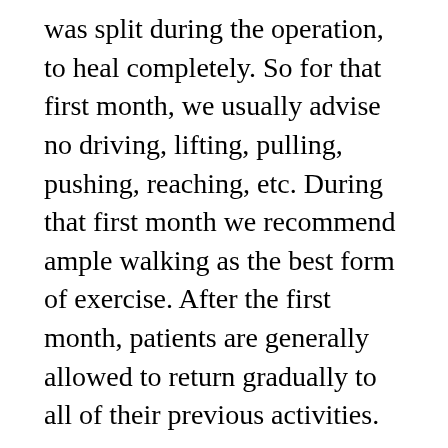was split during the operation, to heal completely. So for that first month, we usually advise no driving, lifting, pulling, pushing, reaching, etc. During that first month we recommend ample walking as the best form of exercise. After the first month, patients are generally allowed to return gradually to all of their previous activities.
Patients who've had aortic valve replacement and/or replacement of the aorta will require life-long monitoring by their doctor, with periodic echocardiogram and/or chest CT scanning. Over time, there will be some patients who develop problems with the prosthetic heart valve or enlargement of some portion of the aorta (that hasn't already